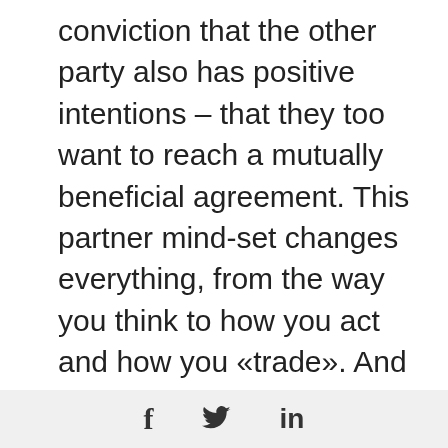conviction that the other party also has positive intentions – that they too want to reach a mutually beneficial agreement. This partner mind-set changes everything, from the way you think to how you act and how you «trade». And in cases where negotiators are extremely difficult to handle, it is even more critical to maintain composure and exhibit confidence, and not yield to fear and domination. Instead, focus on achieving a result that both parties are happy with even after the contract is signed.
[Figure (other): Social sharing icons bar with Facebook (f), Twitter (bird), and LinkedIn (in) icons on a light gray background]